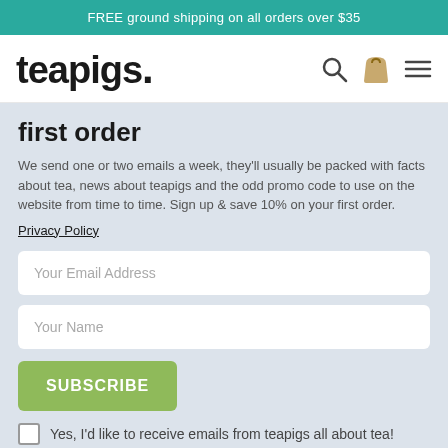FREE ground shipping on all orders over $35
[Figure (logo): teapigs. logo with search, cart, and menu icons]
first order
We send one or two emails a week, they'll usually be packed with facts about tea, news about teapigs and the odd promo code to use on the website from time to time. Sign up & save 10% on your first order.
Privacy Policy
Your Email Address
Your Name
SUBSCRIBE
Yes, I'd like to receive emails from teapigs all about tea!